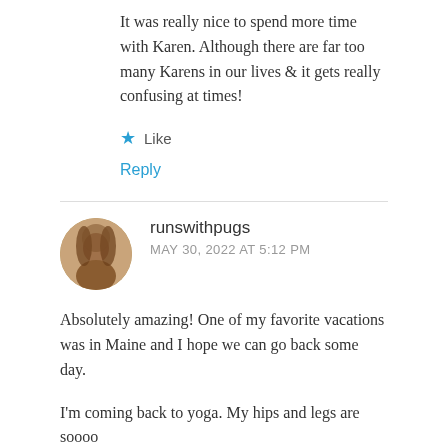It was really nice to spend more time with Karen. Although there are far too many Karens in our lives & it gets really confusing at times!
★ Like
Reply
runswithpugs
MAY 30, 2022 AT 5:12 PM
Absolutely amazing! One of my favorite vacations was in Maine and I hope we can go back some day.
I'm coming back to yoga. My hips and legs are soooo